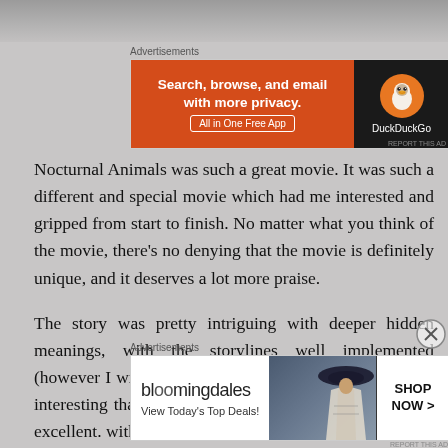[Figure (screenshot): Top dark image strip showing background scene]
Advertisements
[Figure (screenshot): DuckDuckGo advertisement banner: 'Search, browse, and email with more privacy. All in One Free App' with DuckDuckGo logo on dark background]
REPORT THIS AD
Nocturnal Animals was such a great movie. It was such a different and special movie which had me interested and gripped from start to finish. No matter what you think of the movie, there's no denying that the movie is definitely unique, and it deserves a lot more praise.
The story was pretty intriguing with deeper hidden meanings, with the storylines well implemented (however I will admit that one storyline was much more interesting than the other). the direction of the film was excellent. with perfect
Advertisements
[Figure (screenshot): Bloomingdale's advertisement banner: 'View Today's Top Deals!' with woman in hat image and 'SHOP NOW >' button]
REPORT THIS AD